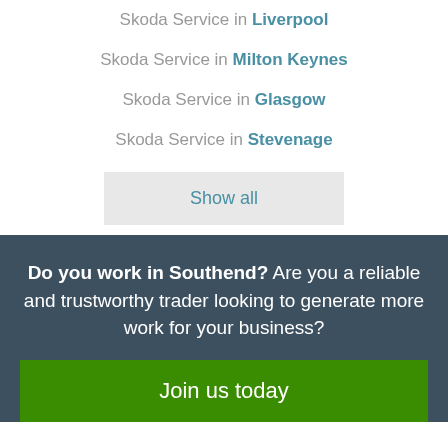Skoda Service in Liverpool
Skoda Service in Milton Keynes
Skoda Service in Glasgow
Skoda Service in Stevenage
Show all
Do you work in Southend? Are you a reliable and trustworthy trader looking to generate more work for your business?
Join us today